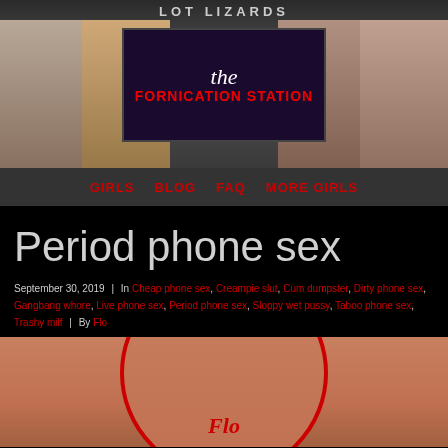[Figure (photo): Website banner header showing 'LOT LIZARDS' text at top with figures on left and right sides, center sign reading 'the Fornication Station' in red text on dark background]
GIRLS   BLOG   FAQ   MORE GIRLS
Period phone sex
September 30, 2019  |  In Cheap phone sex, Creampie slut, Cum dumpster, Dirty phone sex, Gangbang whore, Live phone sex, Period phone sex, Sloppy wet pussy, Taboo phone sex, Trashy milf  |  By Flo
[Figure (photo): Partial image with circular border in red, showing skin tones, with 'Flo' text in red italic at bottom]